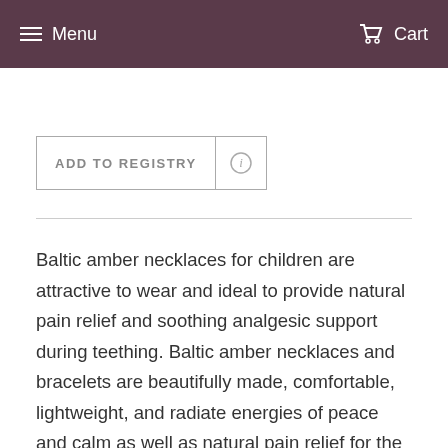Menu  Cart
ADD TO REGISTRY
Baltic amber necklaces for children are attractive to wear and ideal to provide natural pain relief and soothing analgesic support during teething. Baltic amber necklaces and bracelets are beautifully made, comfortable, lightweight, and radiate energies of peace and calm as well as natural pain relief for the wearer. Wearing the necklace will help boost your child's immune system, reduce inflammation and accelerate